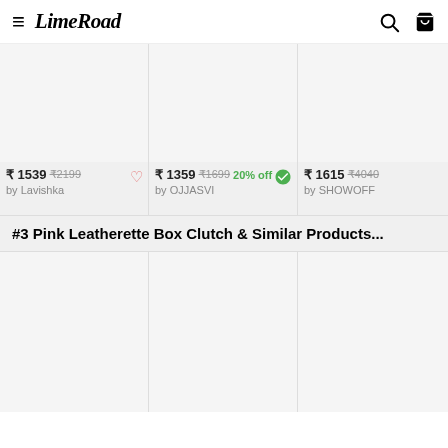LimeRoad
[Figure (photo): Product image placeholder (white/light gray) for item by Lavishka]
[Figure (photo): Product image placeholder (white/light gray) for item by OJJASVI]
[Figure (photo): Product image placeholder (white/light gray) for item by SHOWOFF]
₹ 1539 ₹2199 by Lavishka
₹ 1359 ₹1699 20% off by OJJASVI
₹ 1615 ₹4040 by SHOWOFF
#3 Pink Leatherette Box Clutch & Similar Products...
[Figure (photo): Product image placeholder for pink leatherette box clutch item 1]
[Figure (photo): Product image placeholder for pink leatherette box clutch item 2]
[Figure (photo): Product image placeholder for pink leatherette box clutch item 3]